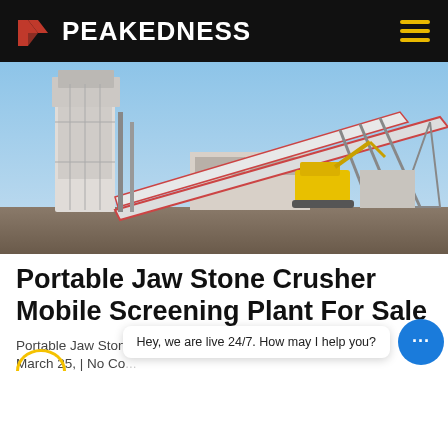PEAKEDNESS
[Figure (photo): Outdoor photo of a stone crushing and screening plant with tall white silos, conveyor belts at an angle, and a yellow excavator in the background under a blue sky.]
Portable Jaw Stone Crusher Mobile Screening Plant For Sale
Portable Jaw Stone Crusher Mobile Screening Plant For Sa...
March 25, | No Co... ...es
Hey, we are live 24/7. How may I help you?